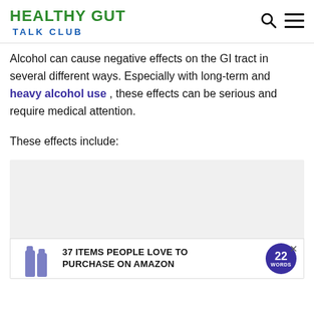HEALTHY GUT TALK CLUB
Alcohol can cause negative effects on the GI tract in several different ways. Especially with long-term and heavy alcohol use , these effects can be serious and require medical attention.
These effects include:
[Figure (other): Advertisement banner: '37 ITEMS PEOPLE LOVE TO PURCHASE ON AMAZON' with product bottles image and a circular badge showing '22 WORDS']